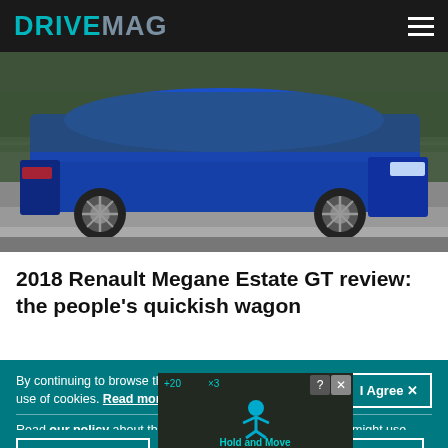DRIVEMAG
[Figure (photo): Blue Renault Megane Estate GT car photographed in motion on a road, side profile view with blurred background]
2018 Renault Megane Estate GT review: the people's quickish wagon
By continuing to browse the site, you are agreeing to our use of cookies. Read more.
I Agree ✕
Read our policy about the usage of your personal data. We might use these data for serving you more relevant personalized ads. Do you agree?
Yes
No
You can change your preferences at any age.
[Figure (photo): Advertisement overlay showing Hold and Move app with person icon and score display]